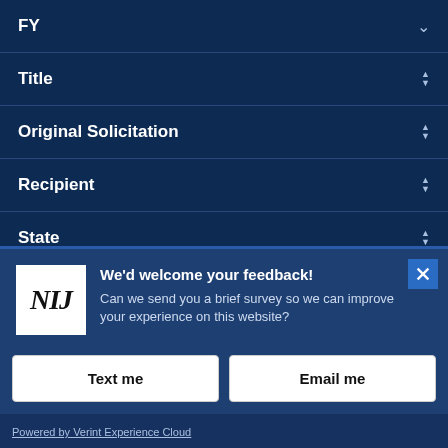FY
Title
Original Solicitation
Recipient
State
Award Number
We'd welcome your feedback! Can we send you a brief survey so we can improve your experience on this website?
Text me
Email me
Powered by Verint Experience Cloud